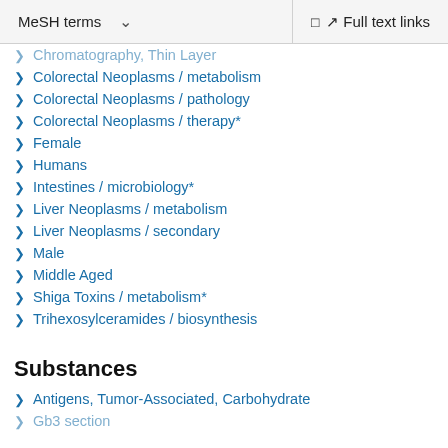MeSH terms  ∨   Full text links
Chromatography, Thin Layer
Colorectal Neoplasms / metabolism
Colorectal Neoplasms / pathology
Colorectal Neoplasms / therapy*
Female
Humans
Intestines / microbiology*
Liver Neoplasms / metabolism
Liver Neoplasms / secondary
Male
Middle Aged
Shiga Toxins / metabolism*
Trihexosylceramides / biosynthesis
Substances
Antigens, Tumor-Associated, Carbohydrate
Gb3 section (truncated)